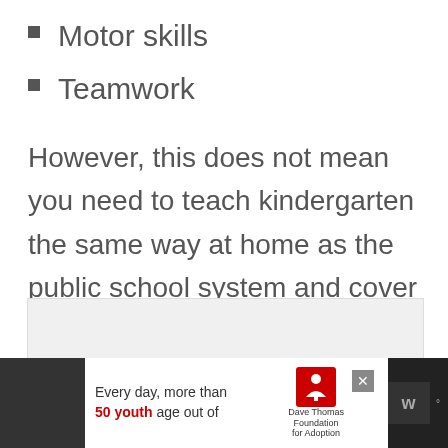Motor skills
Teamwork
However, this does not mean you need to teach kindergarten the same way at home as the public school system and cover all of these topics.
[Figure (other): A loading or carousel indicator with three grey dots inside a light grey box area]
[Figure (other): Advertisement banner at bottom: person in beanie hat on dark background, with text 'Every day, more than 50 youth age out of' alongside Dave Thomas Foundation for Adoption logo and app icon]